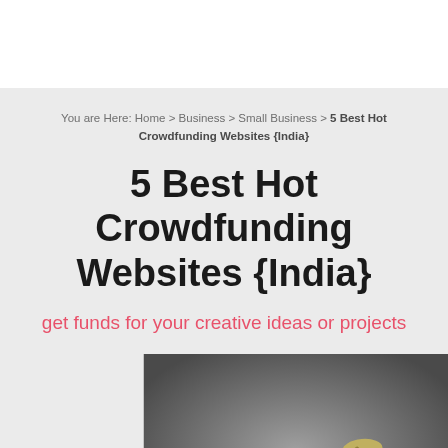You are Here: Home > Business > Small Business > 5 Best Hot Crowdfunding Websites {India}
5 Best Hot Crowdfunding Websites {India}
get funds for your creative ideas or projects
[Figure (photo): A hand holding a green watering can, watering a plant made of dollar bills growing from a chain, on a dark grey background]